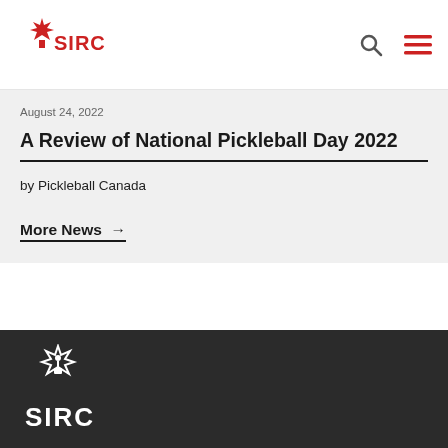SIRC
August 24, 2022
A Review of National Pickleball Day 2022
by Pickleball Canada
More News →
SIRC